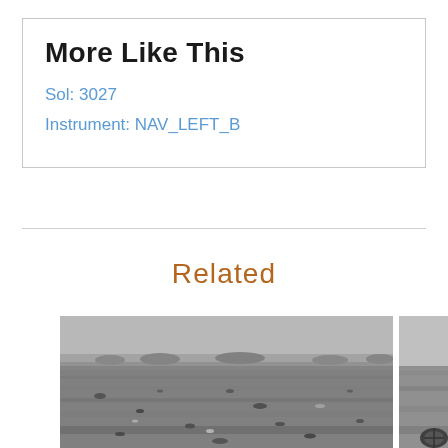More Like This
Sol: 3027
Instrument: NAV_LEFT_B
Related
[Figure (photo): Black and white Mars surface photograph taken by NAV_LEFT_B instrument showing rocky Martian terrain with scattered pebbles and dust]
[Figure (photo): Partial black and white Mars surface photograph, partially cropped at right edge of page]